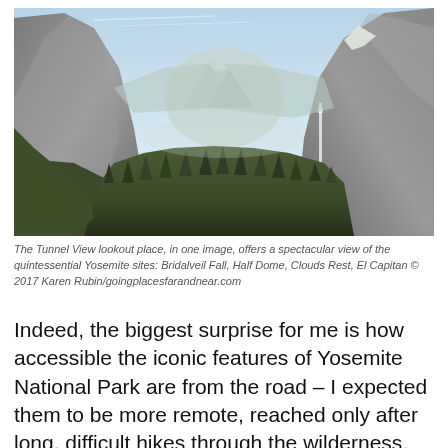[Figure (photo): Tunnel View lookout photo showing Yosemite Valley with El Capitan on the left, Half Dome in the center background, Bridalveil Fall on the right cliff face, and dense forest in the valley floor, under a hazy blue sky.]
The Tunnel View lookout place, in one image, offers a spectacular view of the quintessential Yosemite sites: Bridalveil Fall, Half Dome, Clouds Rest, El Capitan © 2017 Karen Rubin/goingplacesfarandnear.com
Indeed, the biggest surprise for me is how accessible the iconic features of Yosemite National Park are from the road – I expected them to be more remote, reached only after long, difficult hikes through the wilderness.